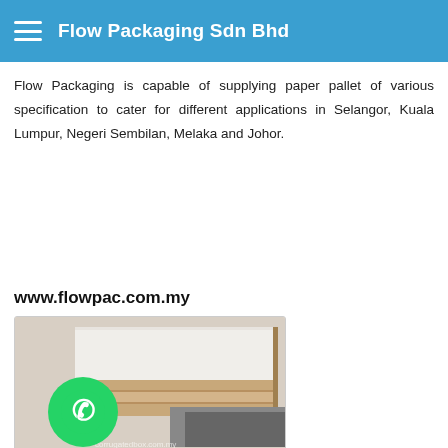Flow Packaging Sdn Bhd
Flow Packaging is capable of supplying paper pallet of various specification to cater for different applications in Selangor, Kuala Lumpur, Negeri Sembilan, Melaka and Johor.
www.flowpac.com.my
[Figure (photo): Photo of paper pallets stacked, with a WhatsApp button overlay on the bottom-left. Watermark text reads corrugatedbox.com.my]